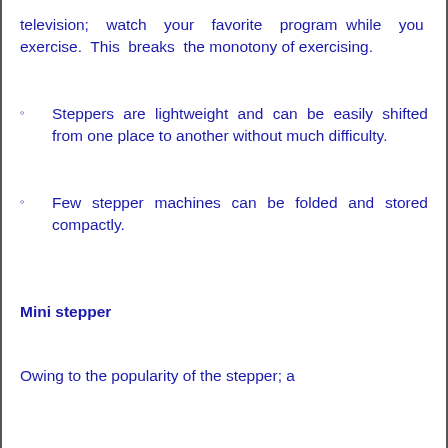television; watch your favorite program while you exercise. This breaks the monotony of exercising.
Steppers are lightweight and can be easily shifted from one place to another without much difficulty.
Few stepper machines can be folded and stored compactly.
Mini stepper
Owing to the popularity of the stepper; a